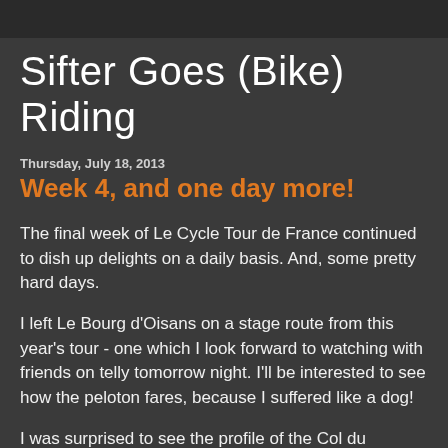Sifter Goes (Bike) Riding
Thursday, July 18, 2013
Week 4, and one day more!
The final week of Le Cycle Tour de France continued to dish up delights on a daily basis.  And, some pretty hard days.
I left Le Bourg d'Oisans on a stage route from this year's tour - one which I look forward to watching with friends on telly tomorrow night.  I'll be interested to see how the peloton fares, because I suffered like a dog!
I was surprised to see the profile of the Col du Glandon after the fact, because my impression of it must have been affected by the effort up Alpe d'Huez the night before.  It had what seemed to be some ungodly steep sections, and a couple of descents which were surely screwing up the average uphill gradient.  Unlike the pros, I took a short